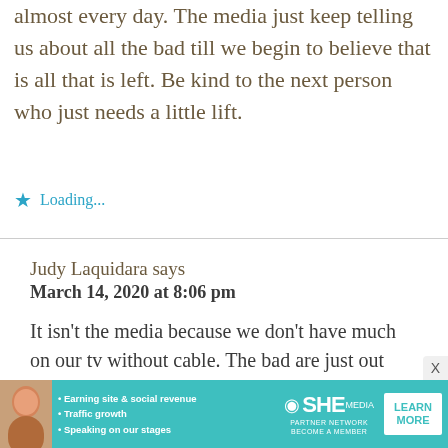almost every day. The media just keep telling us about all the bad till we begin to believe that is all that is left. Be kind to the next person who just needs a little lift.
Loading...
Judy Laquidara says
March 14, 2020 at 8:06 pm
It isn't the media because we don't have much on our tv without cable. The bad are just out there for real.
[Figure (infographic): SHE Partner Network advertisement banner with a woman's photo, bullet points about earning site & social revenue, traffic growth, speaking on stages, SHE logo, and a Learn More button.]